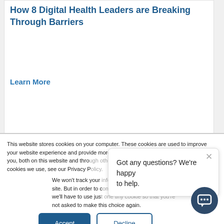How 8 Digital Health Leaders are Breaking Through Barriers
Learn More
This website stores cookies on your computer. These cookies are used to improve your website experience and provide more personalized services to you, both on this website and through other media. To find out more about the cookies we use, see our Privacy Policy.
We won't track your information when you visit our site. But in order to comply with your preferences, we'll have to use just one tiny cookie so that you're not asked to make this choice again.
Got any questions? We're happy to help.
Accept
Decline